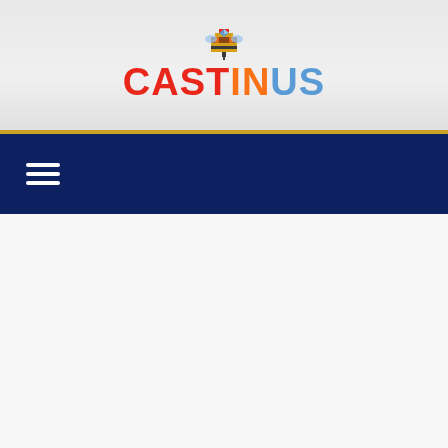[Figure (logo): CASTINUS logo with pixel art diamond/bee icon above the text. CAST in red, IN in orange, US in light blue, all bold sans-serif uppercase.]
[Figure (other): Dark navy blue navigation bar with a white hamburger menu icon (three horizontal lines) on the left side. A thin gold stripe separates the header from the nav bar.]